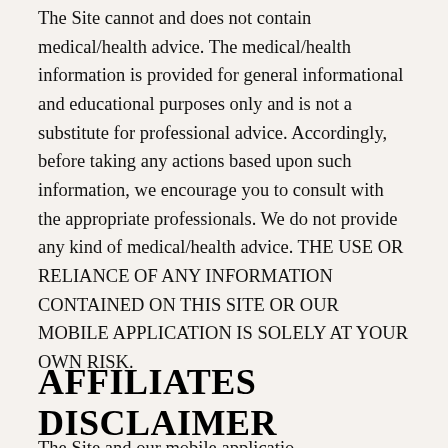The Site cannot and does not contain medical/health advice. The medical/health information is provided for general informational and educational purposes only and is not a substitute for professional advice. Accordingly, before taking any actions based upon such information, we encourage you to consult with the appropriate professionals. We do not provide any kind of medical/health advice. THE USE OR RELIANCE OF ANY INFORMATION CONTAINED ON THIS SITE OR OUR MOBILE APPLICATION IS SOLELY AT YOUR OWN RISK.
AFFILIATES DISCLAIMER
The Site and our mobile application...